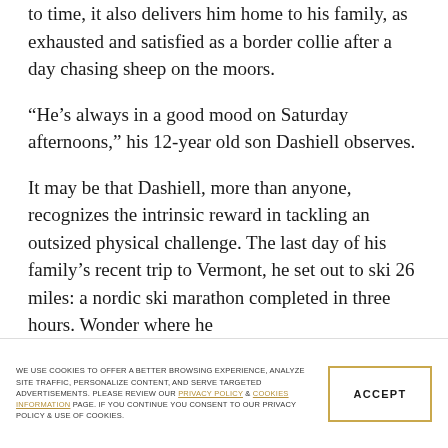to time, it also delivers him home to his family, as exhausted and satisfied as a border collie after a day chasing sheep on the moors.
“He’s always in a good mood on Saturday afternoons,” his 12-year old son Dashiell observes.
It may be that Dashiell, more than anyone, recognizes the intrinsic reward in tackling an outsized physical challenge. The last day of his family’s recent trip to Vermont, he set out to ski 26 miles: a nordic ski marathon completed in three hours. Wonder where he
WE USE COOKIES TO OFFER A BETTER BROWSING EXPERIENCE, ANALYZE SITE TRAFFIC, PERSONALIZE CONTENT, AND SERVE TARGETED ADVERTISEMENTS. PLEASE REVIEW OUR PRIVACY POLICY & COOKIES INFORMATION PAGE. IF YOU CONTINUE YOU CONSENT TO OUR PRIVACY POLICY & USE OF COOKIES.